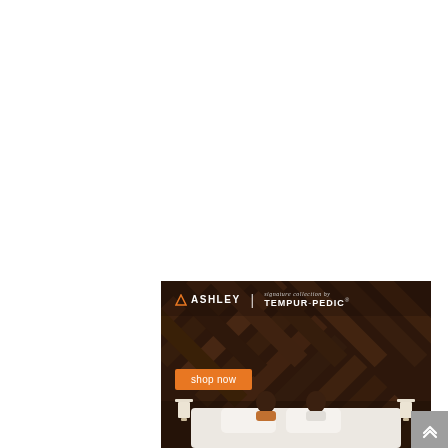[Figure (illustration): Ashley Furniture and Tempur-Pedic co-branded advertisement banner showing two logos at top, a herringbone dark wood pattern background, an orange 'shop now' button, and a couple sitting on a bed at the bottom with white bedding and table lamps on either side.]